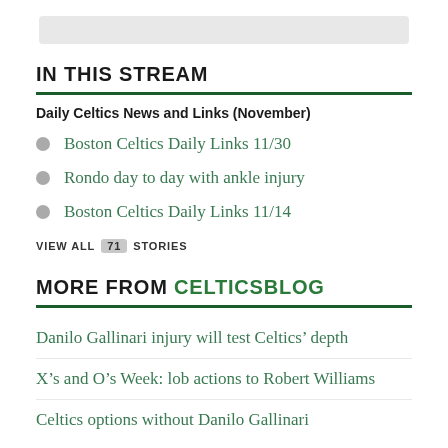[Figure (other): Gray placeholder image bar at top]
IN THIS STREAM
Daily Celtics News and Links (November)
Boston Celtics Daily Links 11/30
Rondo day to day with ankle injury
Boston Celtics Daily Links 11/14
VIEW ALL 71 STORIES
MORE FROM CELTICSBLOG
Danilo Gallinari injury will test Celtics’ depth
X’s and O’s Week: lob actions to Robert Williams
Celtics options without Danilo Gallinari